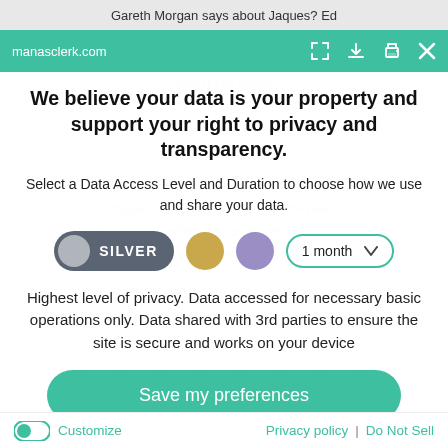Gareth Morgan says about Jaques? Ed
manasclerk.com
We believe your data is your property and support your right to privacy and transparency.
Select a Data Access Level and Duration to choose how we use and share your data.
[Figure (screenshot): Privacy consent controls with Silver level button selected, Gold and Purple level circles, and 1 month duration dropdown]
Highest level of privacy. Data accessed for necessary basic operations only. Data shared with 3rd parties to ensure the site is secure and works on your device
Save my preferences
Customize   Privacy policy | Do Not Sell